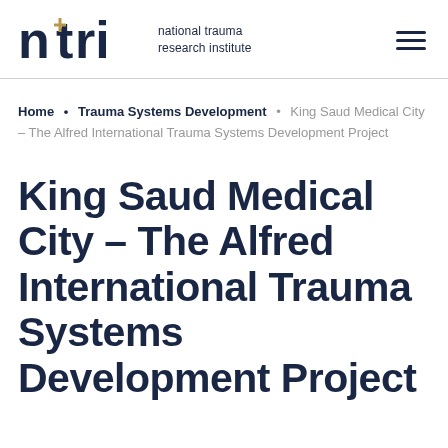ntri national trauma research institute
Home • Trauma Systems Development • King Saud Medical City – The Alfred International Trauma Systems Development Project
King Saud Medical City – The Alfred International Trauma Systems Development Project